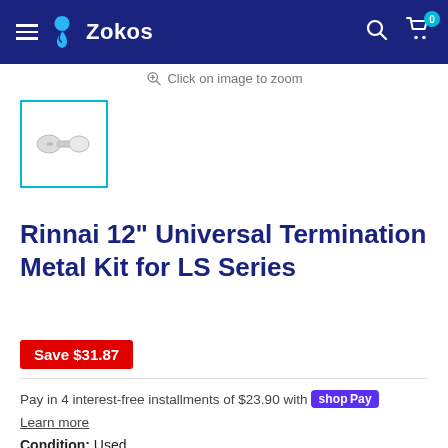Zokos
Click on image to zoom
[Figure (photo): Thumbnail image of Rinnai 12" Universal Termination Metal Kit for LS Series, showing small white plastic fittings against white background, with teal border indicating selected state.]
Rinnai 12” Universal Termination Metal Kit for LS Series
Save $31.87
Pay in 4 interest-free installments of $23.90 with shop Pay
Learn more
Condition: Used